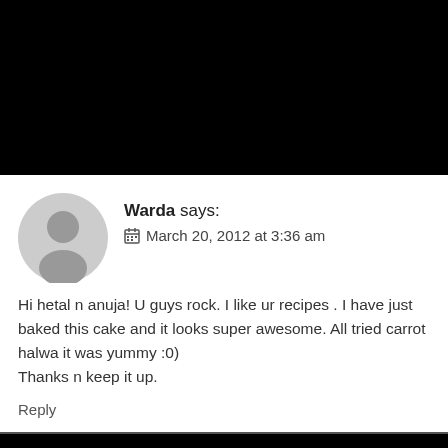[Figure (illustration): Gray default user avatar (circle with person silhouette)]
Warda says:
March 20, 2012 at 3:36 am
Hi hetal n anuja! U guys rock. I like ur recipes . I have just baked this cake and it looks super awesome. All tried carrot halwa it was yummy :0)
Thanks n keep it up.
Reply
[Figure (logo): Google reCAPTCHA badge with Privacy and Terms links]